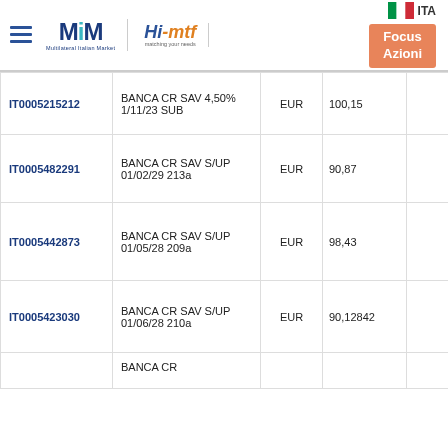MiM Multilateral Italian Market | Hi-mtf matching your needs | Focus Azioni | ITA
| ISIN | Description | Currency | Price |  |
| --- | --- | --- | --- | --- |
| IT0005215212 | BANCA CR SAV 4,50% 1/11/23 SUB | EUR | 100,15 |  |
| IT0005482291 | BANCA CR SAV S/UP 01/02/29 213a | EUR | 90,87 |  |
| IT0005442873 | BANCA CR SAV S/UP 01/05/28 209a | EUR | 98,43 |  |
| IT0005423030 | BANCA CR SAV S/UP 01/06/28 210a | EUR | 90,12842 |  |
|  | BANCA CR |  |  |  |